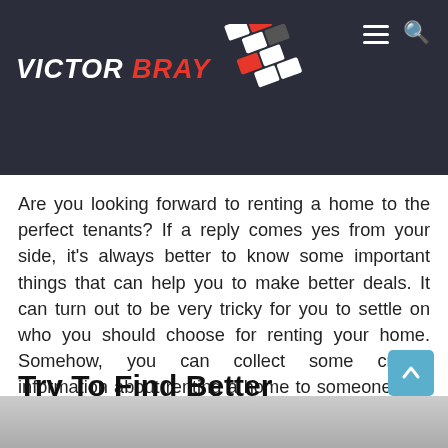VICTOR BRAY
Are you looking forward to renting a home to the perfect tenants? If a reply comes yes from your side, it's always better to know some important things that can help you to make better deals. It can turn out to be very tricky for you to settle on who you should choose for renting your home. Somehow, you can collect some crucial information about renting a home to someone with the help of the following paragraphs. Once you become familiar with the important concerns to rent a home to someone, you will never face any kind of problem while renting. Make sure that you will understand the available more information perfectly to reduce future problems.
Try To Find Better Tenants
[Figure (photo): Bottom partial image, gray gradient, partial view of a photo]